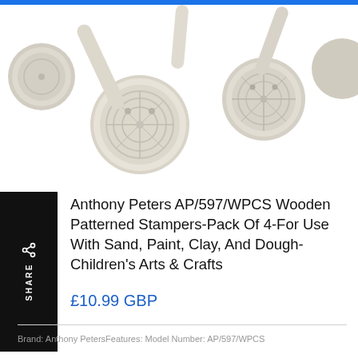[Figure (photo): Overhead view of wooden patterned stampers (off-white/cream colored) with decorative impressed patterns on the roller ends, shown against a white background. Partial view showing 3-4 stamper rollers.]
Anthony Peters AP/597/WPCS Wooden Patterned Stampers-Pack Of 4-For Use With Sand, Paint, Clay, And Dough-Children's Arts & Crafts
£10.99 GBP
Brand: Anthony PetersFeatures: Model Number: AP/597/WPCS